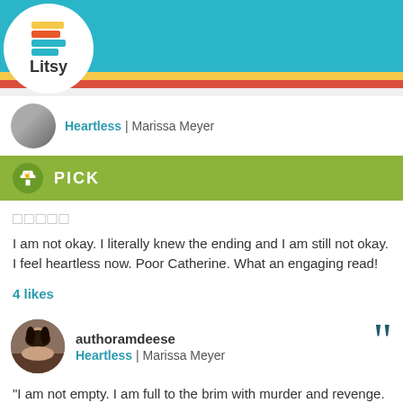[Figure (screenshot): Litsy app logo with colorful book spines and nav bar with home, search, add, activity, profile icons]
Heartless | Marissa Meyer
PICK
☐☐☐☐☐
I am not okay. I literally knew the ending and I am still not okay. I feel heartless now. Poor Catherine. What an engaging read!
4 likes
authoramdeese
Heartless | Marissa Meyer
"I am not empty. I am full to the brim with murder and revenge. I am overflowing and I do not think you wish for me to overflow onto you."